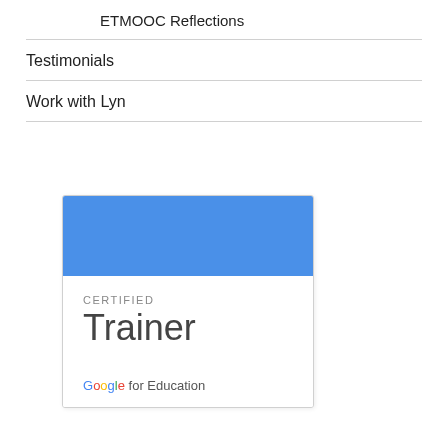ETMOOC Reflections
Testimonials
Work with Lyn
[Figure (logo): Google for Education Certified Trainer badge. Blue rectangular banner at top, then white area with 'CERTIFIED' in small gray uppercase letters and 'Trainer' in large light gray font, with 'Google for Education' branding at bottom.]